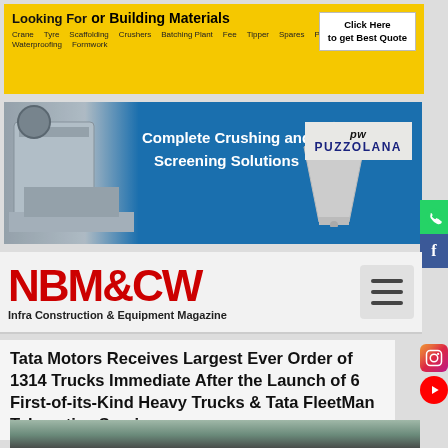[Figure (infographic): Yellow banner advertisement for construction machinery and building materials with 'Looking For' heading, tags like Crane, Crushers, Batching Plant, Tyre, Spares, Material Handling, Waterproofing, Formwork, Scaffolding, Precast, and a white 'Click Here to get Best Quote' button]
[Figure (infographic): Puzzolana blue banner ad showing crushing and screening machinery with text 'Complete Crushing and Screening Solutions' and Puzzolana logo on right]
[Figure (logo): NBM&CW Infra Construction & Equipment Magazine logo in red with hamburger menu icon]
Tata Motors Receives Largest Ever Order of 1314 Trucks Immediate After the Launch of 6 First-of-its-Kind Heavy Trucks & Tata FleetMan Telematics Services
[Figure (photo): Partial photo of a heavy truck inside an industrial shed]